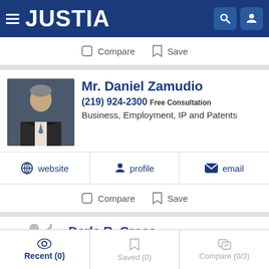JUSTIA
Compare  Save
Mr. Daniel Zamudio
(219) 924-2300 Free Consultation
Business, Employment, IP and Patents
website  profile  email
Compare  Save
Derla R. Gross
(219) 940-1998 Free Consultation
Criminal, DUI, Divorce and Estate Planning
Recent (0)  Saved (0)  Compare (0/3)